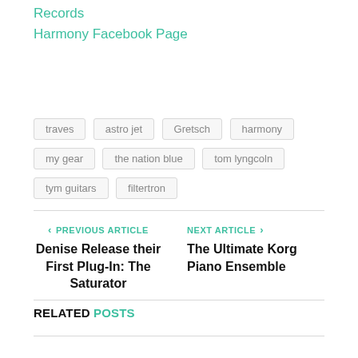Records
Harmony Facebook Page
traves
astro jet
Gretsch
harmony
my gear
the nation blue
tom lyngcoln
tym guitars
filtertron
PREVIOUS ARTICLE
Denise Release their First Plug-In: The Saturator
NEXT ARTICLE
The Ultimate Korg Piano Ensemble
RELATED POSTS